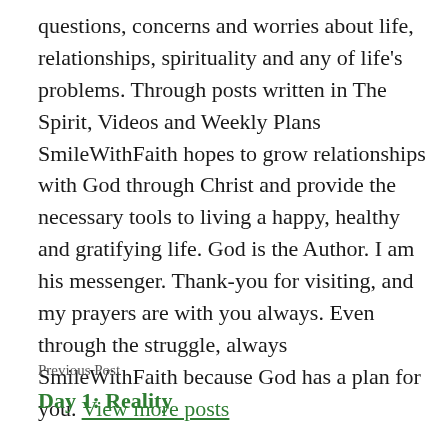questions, concerns and worries about life, relationships, spirituality and any of life's problems. Through posts written in The Spirit, Videos and Weekly Plans SmileWithFaith hopes to grow relationships with God through Christ and provide the necessary tools to living a happy, healthy and gratifying life. God is the Author. I am his messenger. Thank-you for visiting, and my prayers are with you always. Even through the struggle, always SmileWithFaith because God has a plan for you. View more posts
Previous Post
Day 1: Reality